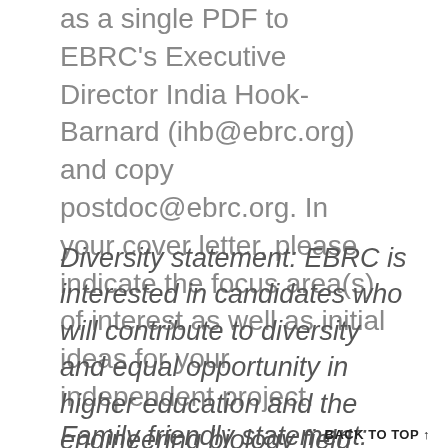as a single PDF to EBRC's Executive Director India Hook-Barnard (ihb@ebrc.org) and copy postdoc@ebrc.org. In your cover letter, please indicate the focus area(s) of interest as well as initial ideas for your independent project.
Diversity statement: EBRC is interested in candidates who will contribute to diversity and equal opportunity in higher education and the engineering biology field through their work.
Family friendly statement: UC
BACK TO TOP ↑